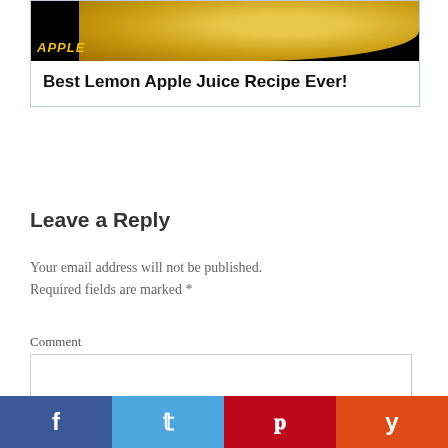[Figure (photo): Card with dark background image showing a yellow/golden fruit (lemon/apple) on the right, with 'APPLE' text in yellow italic on the left side]
Best Lemon Apple Juice Recipe Ever!
Leave a Reply
Your email address will not be published. Required fields are marked *
Comment